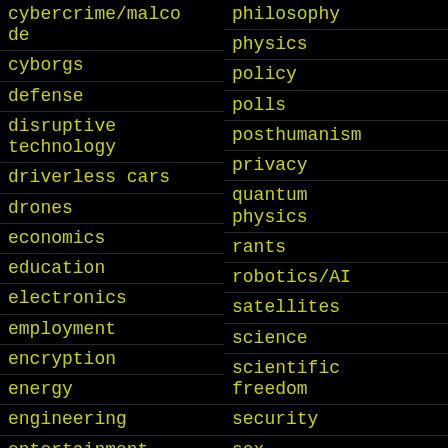cybercrime/malcode
cyborgs
defense
disruptive technology
driverless cars
drones
economics
education
electronics
employment
encryption
energy
engineering
entertainment
environmental
ethics
events
evolution
philosophy
physics
policy
polls
posthumanism
privacy
quantum physics
rants
robotics/AI
satellites
science
scientific freedom
security
sex
singularity
software
solar power